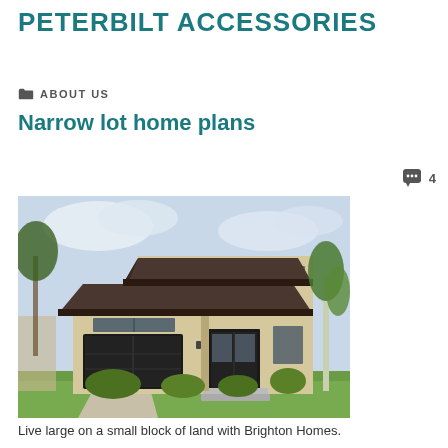PETERBILT ACCESSORIES
ABOUT US
Narrow lot home plans
[Figure (photo): Architectural rendering of a modern two-storey narrow lot home with a dark brown hip roof, tan brick exterior, wood accent panels, a double garage, and large windows, surrounded by landscaping.]
Live large on a small block of land with Brighton Homes.